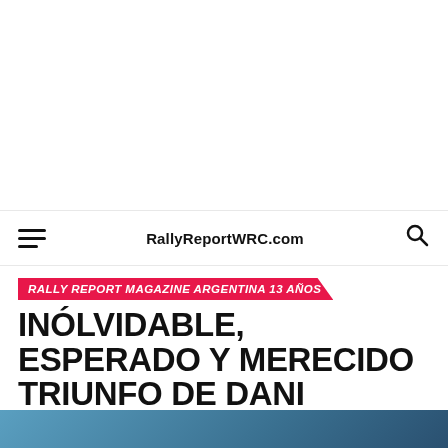RallyReportWRC.com
RALLY REPORT MAGAZINE ARGENTINA 13 AÑOS
INÓLVIDABLE, ESPERADO Y MERECIDO TRIUNFO DE DANI SORDO EN ALEMANIA
Published 9 años ago on 26. agosto 2013 By pablo machi